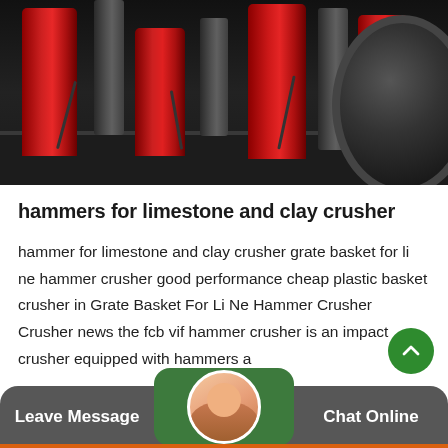[Figure (photo): Industrial crusher machinery with red cylindrical components and large black wheel on dark metal platform]
hammers for limestone and clay crusher
hammer for limestone and clay crusher grate basket for li ne hammer crusher good performance cheap plastic basket crusher in Grate Basket For Li Ne Hammer Crusher Crusher news the fcb vif hammer crusher is an impact crusher equipped with hammers a
Leave Message  Chat Online